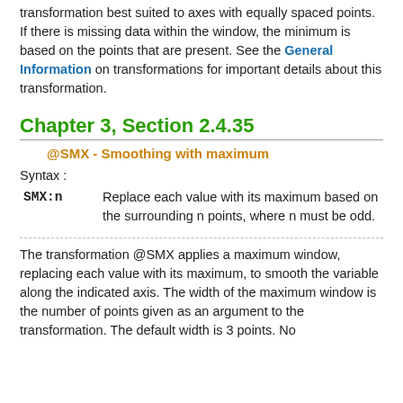transformation best suited to axes with equally spaced points. If there is missing data within the window, the minimum is based on the points that are present. See the General Information on transformations for important details about this transformation.
Chapter 3, Section 2.4.35
@SMX - Smoothing with maximum
Syntax :
| Syntax | Description |
| --- | --- |
| SMX:n | Replace each value with its maximum based on the surrounding n points, where n must be odd. |
The transformation @SMX applies a maximum window, replacing each value with its maximum, to smooth the variable along the indicated axis. The width of the maximum window is the number of points given as an argument to the transformation. The default width is 3 points. No